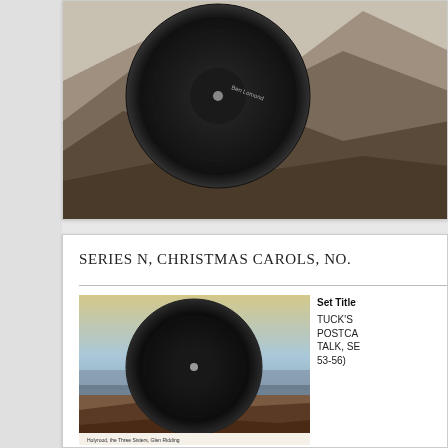[Figure (photo): Partial view of a vinyl record postcard with landscape background featuring mountains (Ben Lomond), top card mostly cut off]
SERIES N, CHRISTMAS CAROLS, NO.
[Figure (photo): Vinyl record postcard with a landscape background showing water, sky, and earth tones. Caption at bottom reads 'Holyrood, the Three Sisters, Glen Ridding']
Set Title TUCK'S POSTCARDS TALK, SERIES N (53-56)